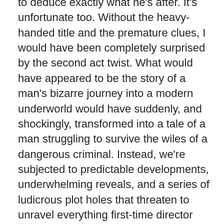to deduce exactly what he's after. It's unfortunate too. Without the heavy-handed title and the premature clues, I would have been completely surprised by the second act twist. What would have appeared to be the story of a man's bizarre journey into a modern underworld would have suddenly, and shockingly, transformed into a tale of a man struggling to survive the wiles of a dangerous criminal. Instead, we're subjected to predictable developments, underwhelming reveals, and a series of ludicrous plot holes that threaten to unravel everything first-time director Marcel Langenegger is haphazardly piecing together.
But there's a bigger issue. Cell phones usage aside, 'Deception' is the sort of film that could've easily been made in the late '80s with Michael Douglas and